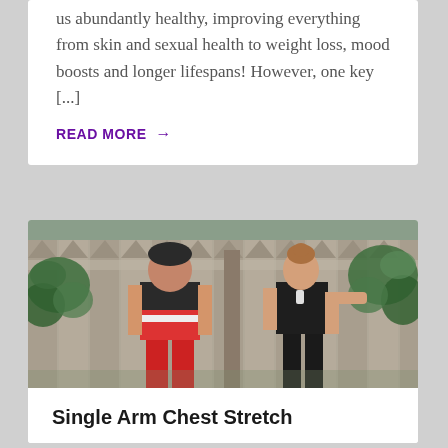us abundantly healthy, improving everything from skin and sexual health to weight loss, mood boosts and longer lifespans! However, one key [...]
READ MORE →
[Figure (photo): Two people standing in front of a wooden fence outdoors. On the left, a man in a red tank top and red shorts. On the right, a woman in a black athletic outfit gesturing toward the man. Green ivy visible on the fence.]
Single Arm Chest Stretch